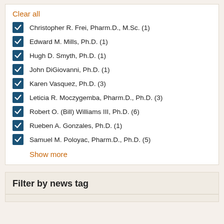Clear all
Christopher R. Frei, Pharm.D., M.Sc. (1)
Edward M. Mills, Ph.D. (1)
Hugh D. Smyth, Ph.D. (1)
John DiGiovanni, Ph.D. (1)
Karen Vasquez, Ph.D. (3)
Leticia R. Moczygemba, Pharm.D., Ph.D. (3)
Robert O. (Bill) Williams III, Ph.D. (6)
Rueben A. Gonzales, Ph.D. (1)
Samuel M. Poloyac, Pharm.D., Ph.D. (5)
Show more
Filter by news tag